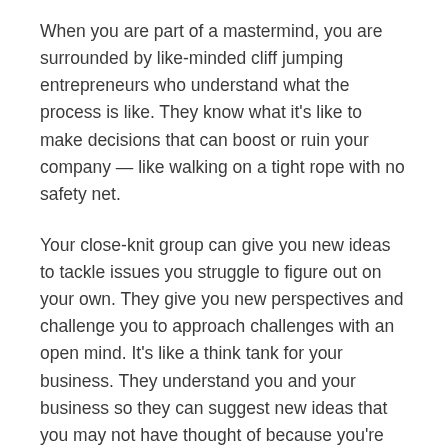When you are part of a mastermind, you are surrounded by like-minded cliff jumping entrepreneurs who understand what the process is like. They know what it's like to make decisions that can boost or ruin your company — like walking on a tight rope with no safety net.
Your close-knit group can give you new ideas to tackle issues you struggle to figure out on your own. They give you new perspectives and challenge you to approach challenges with an open mind. It's like a think tank for your business. They understand you and your business so they can suggest new ideas that you may not have thought of because you're too involved in the business to take a step back and look at with a different set of eyes.